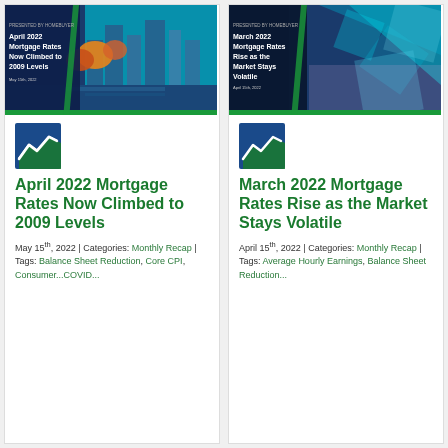[Figure (photo): Banner image for April 2022 Mortgage Rates article showing city skyline with colorful trees and water reflection, dark blue overlay with white text]
[Figure (logo): Green and blue upward trending arrow/chart logo icon]
April 2022 Mortgage Rates Now Climbed to 2009 Levels
May 15th, 2022 | Categories: Monthly Recap | Tags: Balance Sheet Reduction, Core CPI, Consumer...COVID...
[Figure (photo): Banner image for March 2022 Mortgage Rates article showing abstract blue/teal geometric shapes, dark blue overlay with white text]
[Figure (logo): Green and blue upward trending arrow/chart logo icon]
March 2022 Mortgage Rates Rise as the Market Stays Volatile
April 15th, 2022 | Categories: Monthly Recap | Tags: Average Hourly Earnings, Balance Sheet Reduction...